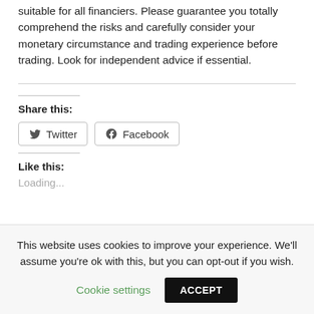suitable for all financiers. Please guarantee you totally comprehend the risks and carefully consider your monetary circumstance and trading experience before trading. Look for independent advice if essential.
Share this:
[Figure (other): Twitter and Facebook share buttons]
Like this:
Loading...
This website uses cookies to improve your experience. We'll assume you're ok with this, but you can opt-out if you wish.
Cookie settings
ACCEPT